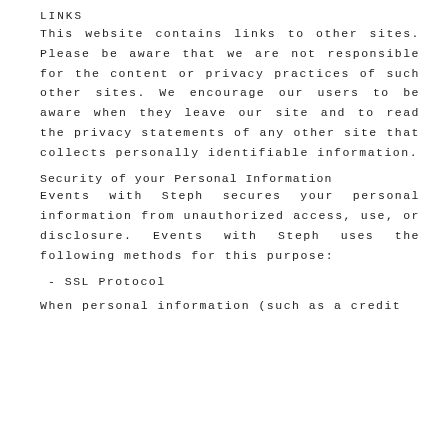Links
This website contains links to other sites. Please be aware that we are not responsible for the content or privacy practices of such other sites. We encourage our users to be aware when they leave our site and to read the privacy statements of any other site that collects personally identifiable information.
Security of your Personal Information
Events with Steph secures your personal information from unauthorized access, use, or disclosure. Events with Steph uses the following methods for this purpose:
- SSL Protocol
When personal information (such as a credit